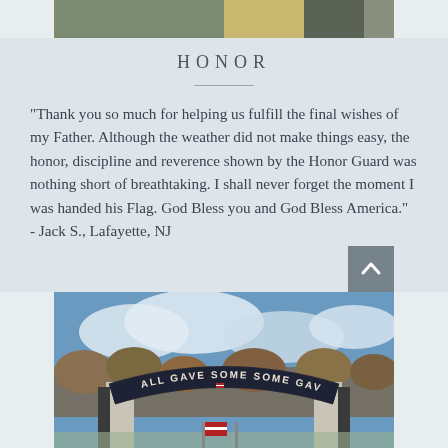[Figure (photo): Partial photo at top of page showing an outdoor scene, cropped.]
HONOR
“Thank you so much for helping us fulfill the final wishes of my Father. Although the weather did not make things easy, the honor, discipline and reverence shown by the Honor Guard was nothing short of breathtaking. I shall never forget the moment I was handed his Flag. God Bless you and God Bless America.”
- Jack S., Lafayette, NJ
[Figure (photo): Photo of a memorial cemetery entrance arch reading ALL GAVE SOME - SOME GAVE ALL, with trees and sky in background.]